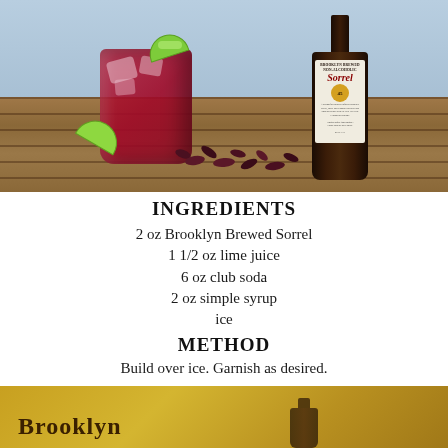[Figure (photo): A red cocktail drink in a glass with ice and lime wedge garnish, next to a bottle of Brooklyn Brewed Sorrel, on a wooden table with dried hibiscus flowers scattered around.]
INGREDIENTS
2 oz Brooklyn Brewed Sorrel
1 1/2 oz lime juice
6 oz club soda
2 oz simple syrup
ice
METHOD
Build over ice. Garnish as desired.
[Figure (photo): Bottom portion of another cocktail recipe page with a golden/amber background, partially visible.]